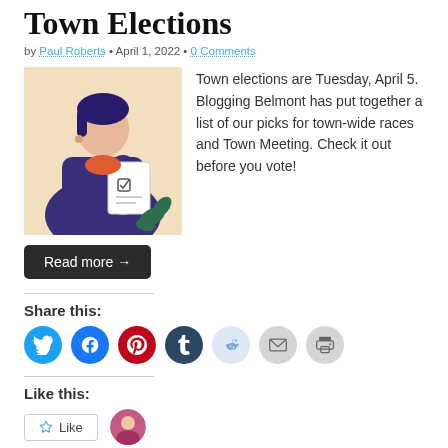Town Elections
by Paul Roberts • April 1, 2022 • 0 Comments
[Figure (illustration): Illustration of a person in a dark blue coat reading a ballot or document, with a plant/leaves in the background on a warm beige background.]
Town elections are Tuesday, April 5. Blogging Belmont has put together a list of our picks for town-wide races and Town Meeting. Check it out before you vote!
Read more →
Share this:
[Figure (infographic): Social sharing icons: Twitter (blue), Facebook (blue), Pinterest (red), Tumblr (dark blue), Reddit (light blue/gray), Email (gray), Print (gray)]
Like this:
[Figure (infographic): Like button with star icon and a user avatar circle]